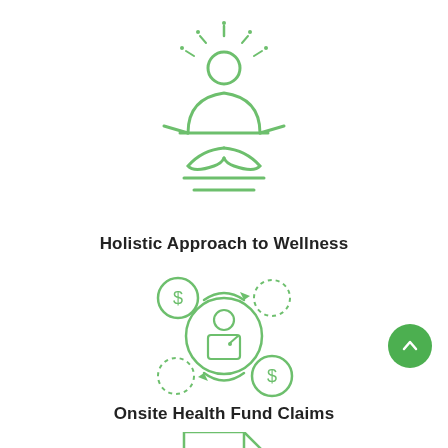[Figure (illustration): Green line icon of a person in meditation/lotus pose with rays emanating from head, representing holistic wellness]
Holistic Approach to Wellness
[Figure (illustration): Green line icon of a person with circular arrows and dollar sign coins around them, representing health fund claims processing]
Onsite Health Fund Claims
[Figure (illustration): Green line icon of a document/file with lines on it, partially visible at bottom of page]